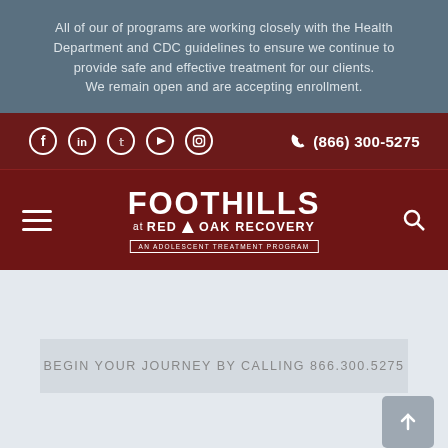All of our of programs are working closely with the Health Department and CDC guidelines to ensure we continue to provide safe and effective treatment for our clients. We remain open and are accepting enrollment.
[Figure (screenshot): Social media icons (Facebook, LinkedIn, Twitter, YouTube, Instagram) in white circles on dark maroon background, with phone number (866) 300-5275]
[Figure (logo): Foothills at Red Oak Recovery logo - An Adolescent Treatment Program, white text on dark maroon background with hamburger menu and search icon]
BEGIN YOUR JOURNEY BY CALLING 866.300.5275